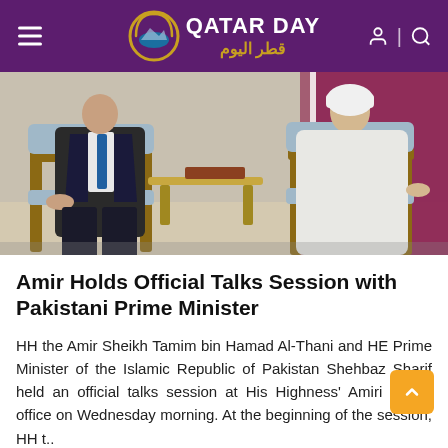QATAR DAY | قطر اليوم
[Figure (photo): Two men seated in ornate chairs facing each other in an official meeting setting. One man on the left wears a dark suit with a blue tie; the other on the right wears a white traditional Gulf robe (thobe). A Qatar flag is partially visible in the background.]
Amir Holds Official Talks Session with Pakistani Prime Minister
HH the Amir Sheikh Tamim bin Hamad Al-Thani and HE Prime Minister of the Islamic Republic of Pakistan Shehbaz Sharif held an official talks session at His Highness' Amiri Diwan office on Wednesday morning. At the beginning of the session, HH t..